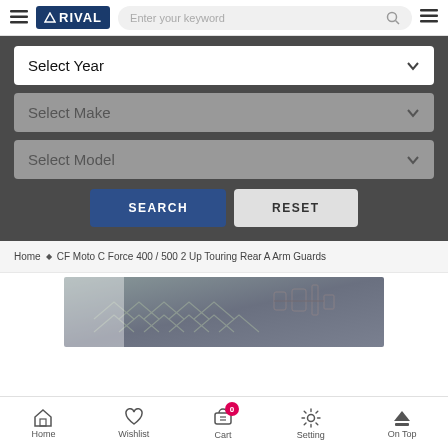RIVAL — navigation bar with logo, search bar, and menu icons
Select Year
Select Make
Select Model
SEARCH   RESET
Home ◆ CF Moto C Force 400 / 500 2 Up Touring Rear A Arm Guards
[Figure (photo): Partial product image showing a metallic/textured guard component]
Home   Wishlist   Cart (0)   Setting   On Top